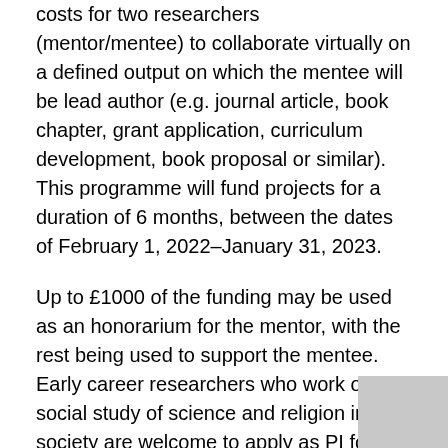costs for two researchers (mentor/mentee) to collaborate virtually on a defined output on which the mentee will be lead author (e.g. journal article, book chapter, grant application, curriculum development, book proposal or similar). This programme will fund projects for a duration of 6 months, between the dates of February 1, 2022–January 31, 2023.
Up to £1000 of the funding may be used as an honorarium for the mentor, with the rest being used to support the mentee.  Early career researchers who work on the social study of science and religion in society are welcome to apply as PI for this programme by November 26, 2021.
Eligible early career researchers are those who have a PhD or due to submit their thesis before the